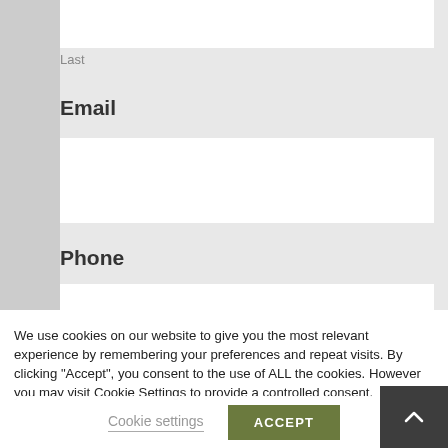Last
Email
Phone
We use cookies on our website to give you the most relevant experience by remembering your preferences and repeat visits. By clicking “Accept”, you consent to the use of ALL the cookies. However you may visit Cookie Settings to provide a controlled consent.
Cookie settings
ACCEPT